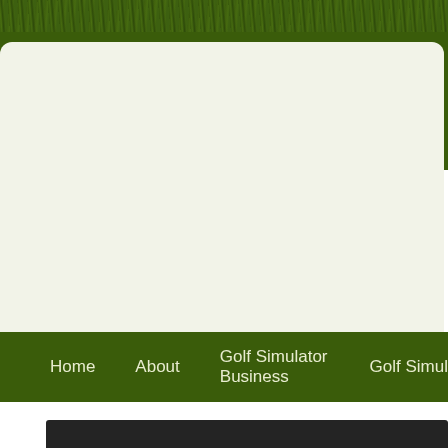[Figure (illustration): Green grass texture strip at the top of the page]
[Figure (illustration): Dark olive green header background with rounded cream/off-white card overlay]
Home   About   Golf Simulator Business   Golf Simul…
[Figure (illustration): Dark near-black content area at bottom of page]